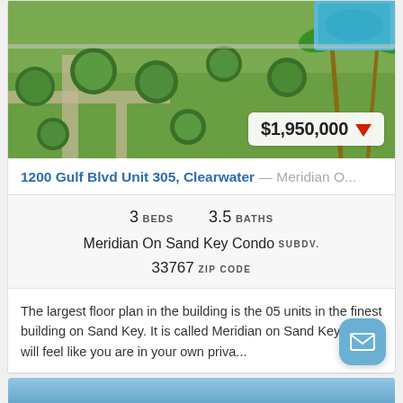[Figure (photo): Aerial view of a luxury condo building's landscaped grounds with manicured bushes, pathways, palm trees, and a pool area visible in the upper right corner.]
$1,950,000 ▼
1200 Gulf Blvd Unit 305, Clearwater — Meridian O...
3 BEDS   3.5 BATHS
Meridian On Sand Key Condo SUBDV.
33767 ZIP CODE
The largest floor plan in the building is the 05 units in the finest building on Sand Key. It is called Meridian on Sand Key. You will feel like you are in your own priva...
[Figure (photo): Partial view of another property photo at the bottom, showing blue water or sky.]